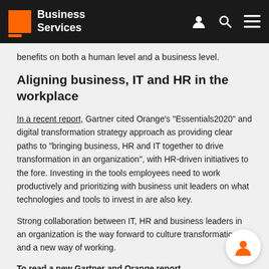Business Services
benefits on both a human level and a business level.
Aligning business, IT and HR in the workplace
In a recent report, Gartner cited Orange's "Essentials2020" and digital transformation strategy approach as providing clear paths to “bringing business, HR and IT together to drive transformation in an organization”, with HR-driven initiatives to the fore. Investing in the tools employees need to work productively and prioritizing with business unit leaders on what technologies and tools to invest in are also key.
Strong collaboration between IT, HR and business leaders in an organization is the way forward to culture transformation and a new way of working.
To read a new Gartner and Orange report,
Orange Business Services Drives Digital